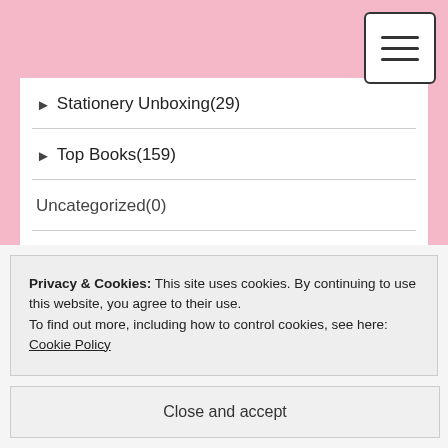hamburger menu button
► Stationery Unboxing(29)
► Top Books(159)
Uncategorized(0)
► Weekly Posts(2420)
► What I Hope To Read(119)
Privacy & Cookies: This site uses cookies. By continuing to use this website, you agree to their use.
To find out more, including how to control cookies, see here: Cookie Policy
Close and accept